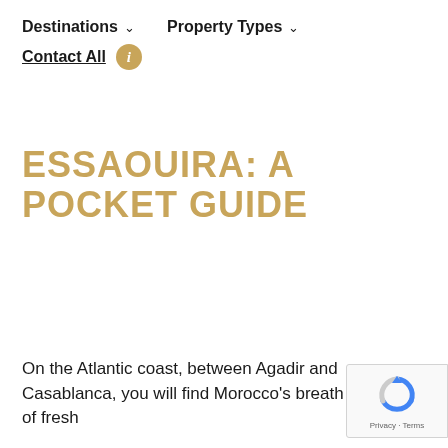Destinations ∨   Property Types ∨
Contact All ℹ
ESSAOUIRA: A POCKET GUIDE
On the Atlantic coast, between Agadir and Casablanca, you will find Morocco's breath of fresh